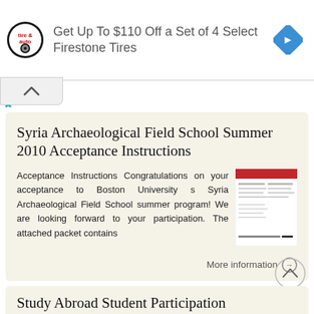[Figure (infographic): Advertisement banner: Virginia Tire & Auto logo on left, text 'Get Up To $110 Off a Set of 4 Select Firestone Tires' in center, blue diamond navigation icon on right]
[Figure (other): Collapse/expand chevron button UI control]
Syria Archaeological Field School Summer 2010 Acceptance Instructions
Acceptance Instructions Congratulations on your acceptance to Boston University s Syria Archaeological Field School summer program! We are looking forward to your participation. The attached packet contains
[Figure (screenshot): Thumbnail image of a document with red header bar]
More information →
Study Abroad Student Participation